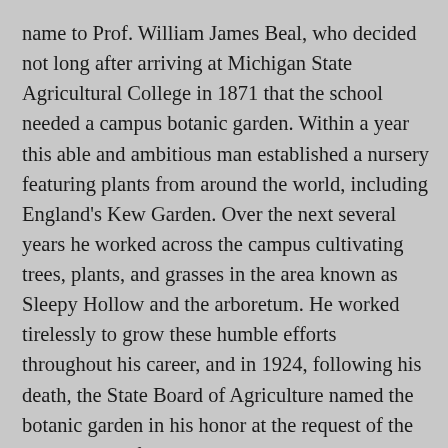name to Prof. William James Beal, who decided not long after arriving at Michigan State Agricultural College in 1871 that the school needed a campus botanic garden. Within a year this able and ambitious man established a nursery featuring plants from around the world, including England's Kew Garden. Over the next several years he worked across the campus cultivating trees, plants, and grasses in the area known as Sleepy Hollow and the arboretum. He worked tirelessly to grow these humble efforts throughout his career, and in 1924, following his death, the State Board of Agriculture named the botanic garden in his honor at the request of the Department of Botany. The tour will include stories of Beal's work, as well as the efforts of his successors who reimagined and redesigned the garden in the mid-20th century, inspiring the American Society of Horticultural Science in 1955 to pronounce the newly organized garden the finest teaching facility in the country.